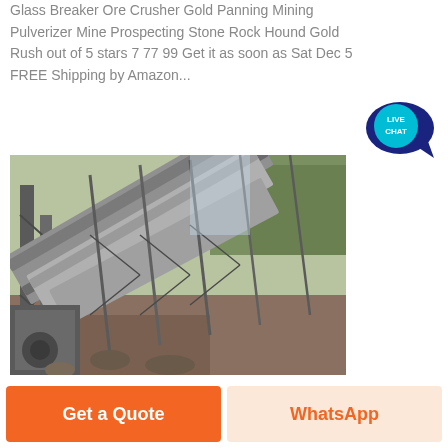Glass Breaker Ore Crusher Gold Panning Mining Pulverizer Mine Prospecting Stone Rock Hound Gold Rush out of 5 stars 7 77 99 Get it as soon as Sat Dec 5 FREE Shipping by Amazon...
[Figure (photo): Aerial view of industrial mining conveyor belt structure with steel framework, multiple inclined conveyor belts on a hillside mining site]
Get a Quote
WhatsApp